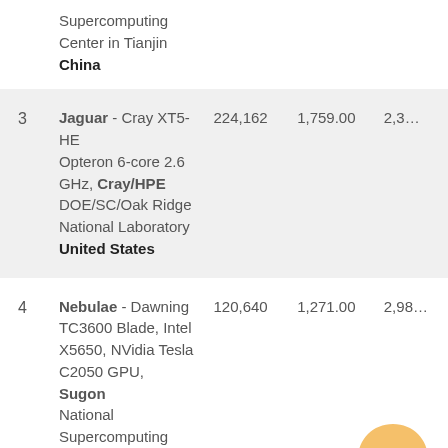| Rank | Name / Description / Manufacturer / Location | Cores | Rmax (TFlop/s) | Rpeak (TFlop/s) |
| --- | --- | --- | --- | --- |
|  | Supercomputing
Center in Tianjin
China |  |  |  |
| 3 | Jaguar - Cray XT5-HE Opteron 6-core 2.6 GHz, Cray/HPE
DOE/SC/Oak Ridge National Laboratory
United States | 224,162 | 1,759.00 | 2,3… |
| 4 | Nebulae - Dawning TC3600 Blade, Intel X5650, NVidia Tesla C2050 GPU, Sugon
National Supercomputing Centre in Shenzhen (NSCS)
China | 120,640 | 1,271.00 | 2,98… |